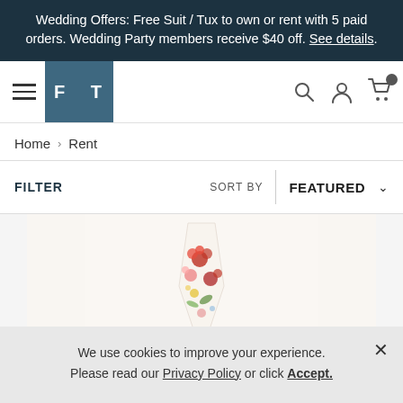Wedding Offers: Free Suit / Tux to own or rent with 5 paid orders. Wedding Party members receive $40 off. See details.
[Figure (logo): FT logo — white letters F and T on teal/steel-blue background square]
Home > Rent
FILTER   SORT BY   FEATURED
[Figure (photo): Floral patterned tie/pocket square with red and pink flowers on white background]
We use cookies to improve your experience. Please read our Privacy Policy or click Accept.